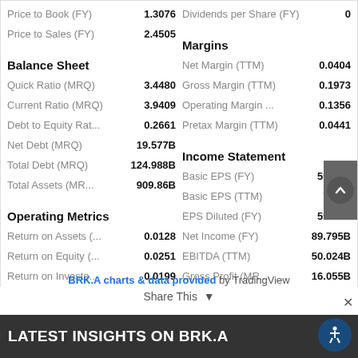| Metric | Value |
| --- | --- |
| Price to Book (FY) | 1.3076 |
| Price to Sales (FY) | 2.4505 |
| Dividends per Share (FY) | 0 |
Balance Sheet
| Metric | Value |
| --- | --- |
| Quick Ratio (MRQ) | 3.4480 |
| Current Ratio (MRQ) | 3.9409 |
| Debt to Equity Rat... | 0.2661 |
| Net Debt (MRQ) | 19.577B |
| Total Debt (MRQ) | 124.988B |
| Total Assets (MR... | 909.86B |
Operating Metrics
| Metric | Value |
| --- | --- |
| Return on Assets (... | 0.0128 |
| Return on Equity (... | 0.0251 |
| Return on Investe... | 0.0199 |
Margins
| Metric | Value |
| --- | --- |
| Net Margin (TTM) | 0.0404 |
| Gross Margin (TTM) | 0.1973 |
| Operating Margin ... | 0.1356 |
| Pretax Margin (TTM) | 0.0441 |
Income Statement
| Metric | Value |
| --- | --- |
| Basic EPS (FY) | 59.46K |
| Basic EPS (TTM) | 7.52K |
| EPS Diluted (FY) | 59.46K |
| Net Income (FY) | 89.795B |
| EBITDA (TTM) | 50.024B |
| Gross Profit (MR... | 16.055B |
BRK.A charts & data provided by TradingView
Share This
LATEST INSIGHTS ON BRK.A